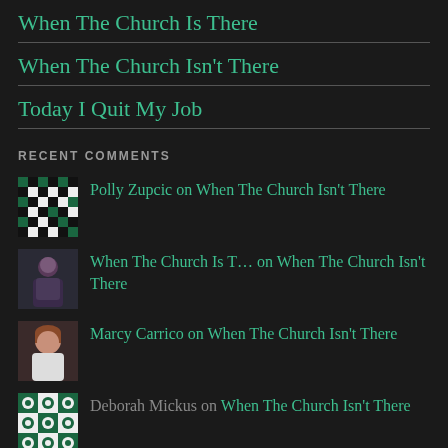When The Church Is There
When The Church Isn't There
Today I Quit My Job
RECENT COMMENTS
Polly Zupcic on When The Church Isn't There
When The Church Is T… on When The Church Isn't There
Marcy Carrico on When The Church Isn't There
Deborah Mickus on When The Church Isn't There